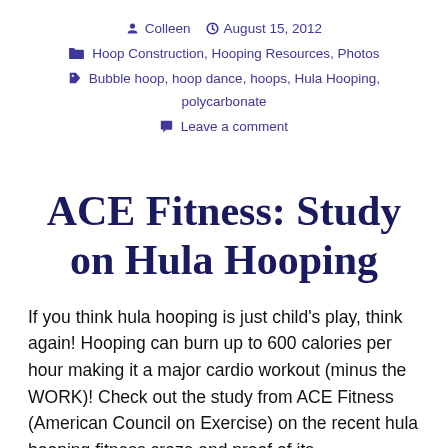Colleen  August 15, 2012
Hoop Construction, Hooping Resources, Photos
Bubble hoop, hoop dance, hoops, Hula Hooping, polycarbonate
Leave a comment
ACE Fitness: Study on Hula Hooping
If you think hula hooping is just child’s play, think again! Hooping can burn up to 600 calories per hour making it a major cardio workout (minus the WORK)! Check out the study from ACE Fitness (American Council on Exercise) on the recent hula hooping fitness craze and proof of its